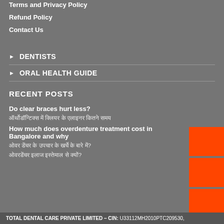Terms and Privacy Policy
Refund Policy
Contact Us
DENTISTS
ORAL HEALTH GUIDE
RECENT POSTS
Do clear braces hurt less?
ऑर्थोडॉन्टिक्स में क्लियर के एलाइनर कितने समय
How much does overdenture treatment cost in Bangalore and why
ओवर डेंचर के उपचार के खर्चे के बारे में?
ओवरडेंचर इलाज इस्तेमाल से क्यों?
TOTAL DENTAL CARE PRIVATE LIMITED – CIN: U33112MH2010PTC209530,